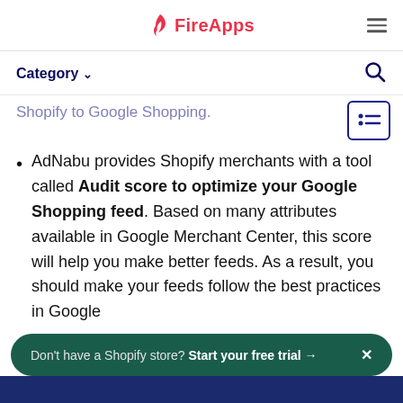FireApps
Category
Shopify to Google Shopping.
AdNabu provides Shopify merchants with a tool called Audit score to optimize your Google Shopping feed. Based on many attributes available in Google Merchant Center, this score will help you make better feeds. As a result, you should make your feeds follow the best practices in Google
Don't have a Shopify store? Start your free trial →